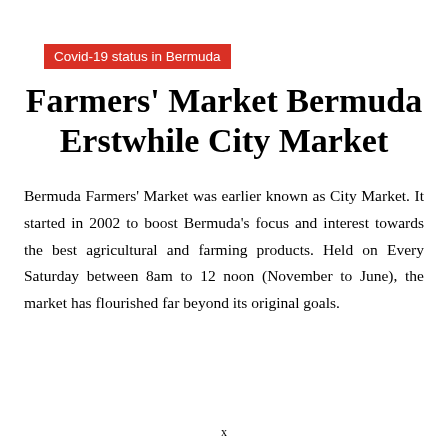Covid-19 status in Bermuda
Farmers' Market Bermuda Erstwhile City Market
Bermuda Farmers' Market was earlier known as City Market. It started in 2002 to boost Bermuda's focus and interest towards the best agricultural and farming products. Held on Every Saturday between 8am to 12 noon (November to June), the market has flourished far beyond its original goals.